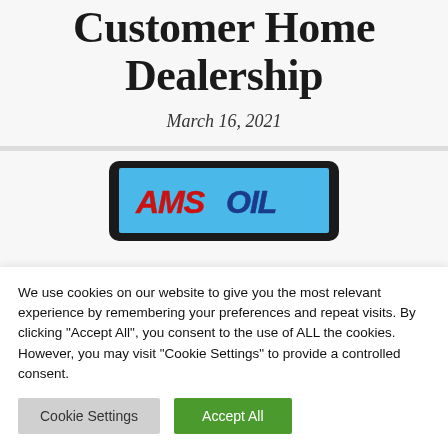Customer Home Dealership
March 16, 2021
[Figure (screenshot): Tablet device displaying AMSOIL logo on a blue background]
We use cookies on our website to give you the most relevant experience by remembering your preferences and repeat visits. By clicking "Accept All", you consent to the use of ALL the cookies. However, you may visit "Cookie Settings" to provide a controlled consent.
Cookie Settings | Accept All